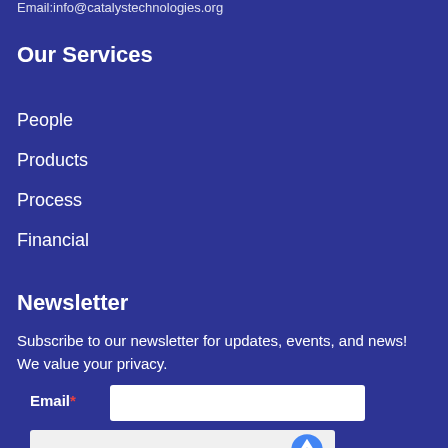Email:info@catalystechnologies.org
Our Services
People
Products
Process
Financial
Newsletter
Subscribe to our newsletter for updates, events, and news! We value your privacy.
Email*